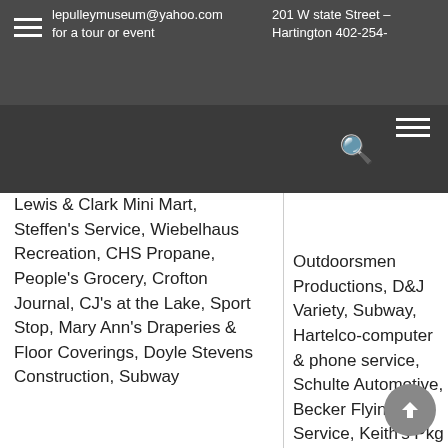lepulleymuseum@yahoo.com for a tour or event
201 W state Street – Hartington 402-254-
Lewis & Clark Mini Mart, Steffen's Service, Wiebelhaus Recreation, CHS Propane, People's Grocery, Crofton Journal, CJ's at the Lake, Sport Stop, Mary Ann's Draperies & Floor Coverings, Doyle Stevens Construction, Subway
Outdoorsmen Productions, D&J Variety, Subway, Hartelco-computer & phone service, Schulte Automotive, Becker Flying Service, Keith's Pkg Liquor, Fay's Furniture and Floor Covering, Sheila's Country Gardens & Gift Shoppe, Kruse True Value, Steffen Drug, College Covers, Tastefully Simple -Jane Sayler, Don Peterson & Assoc. Real Estate,